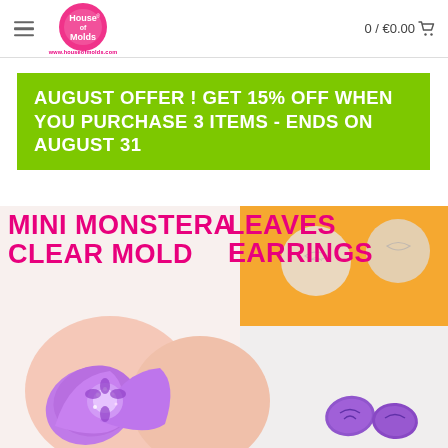House of Molds — www.houseofmolds.com — 0 / €0.00
AUGUST OFFER ! GET 15% OFF WHEN YOU PURCHASE 3 ITEMS - ENDS ON AUGUST 31
[Figure (photo): Product photo of Mini Monstera Leaves Earrings Clear Mold showing clear silicone molds and finished purple earrings with glitter flowers on peach background. Orange background on right with white/clear mold pieces visible.]
MINI MONSTERA LEAVES EARRINGS CLEAR MOLD